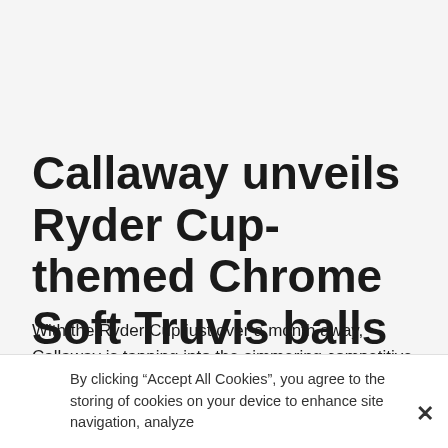Callaway unveils Ryder Cup-themed Chrome Soft Truvis balls
With the Ryder Cup just over a month away, Callaway is tapping into the simmering competitive spirit between the two sides by releasing patriotic versions of its immensely popular Chrome Soft Truvis golf balls.
Depending on which side you'll be rooting for at Le Golf National
By clicking “Accept All Cookies”, you agree to the storing of cookies on your device to enhance site navigation, analyze